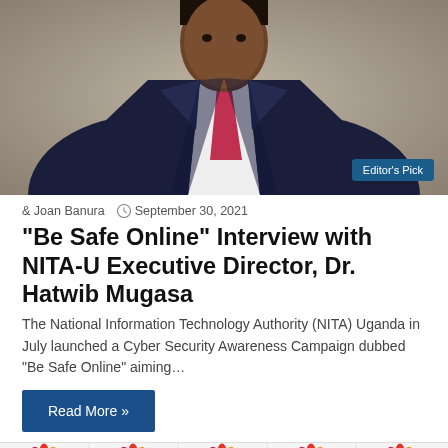[Figure (photo): Professional photo of Dr. Hatwib Mugasa in a dark navy suit with a pink/magenta tie, against a neutral beige-gray background. An 'Editor's Pick' badge is shown in the lower right of the image.]
Joan Banura   September 30, 2021
“Be Safe Online” Interview with NITA-U Executive Director, Dr. Hatwib Mugasa
The National Information Technology Authority (NITA) Uganda in July launched a Cyber Security Awareness Campaign dubbed “Be Safe Online” aiming…
Read More »
[Figure (photo): Bottom banner showing repeated MultiChoice logo (colorful flower/petals with 'MultiChoice' text below) across a row, with partial view of a person in a suit at the bottom.]